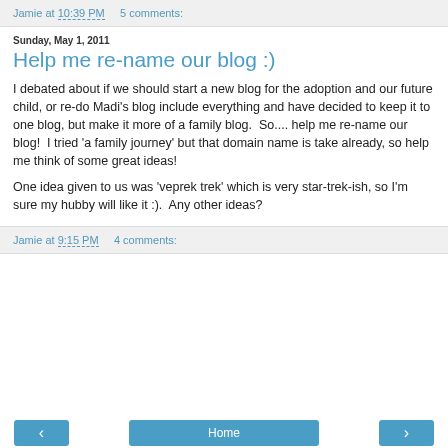Jamie at 10:39 PM    5 comments:
Sunday, May 1, 2011
Help me re-name our blog :)
I debated about if we should start a new blog for the adoption and our future child, or re-do Madi's blog include everything and have decided to keep it to one blog, but make it more of a family blog.  So.... help me re-name our blog!  I tried 'a family journey' but that domain name is take already, so help me think of some great ideas!
One idea given to us was 'veprek trek' which is very star-trek-ish, so I'm sure my hubby will like it :).  Any other ideas?
Jamie at 9:15 PM    4 comments: